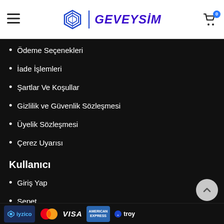GEVEYSİM
Ödeme Seçenekleri
İade İşlemleri
Şartlar Ve Koşullar
Gizlilik ve Güvenlik Sözleşmesi
Üyelik Sözleşmesi
Çerez Uyarısı
Kullanıcı
Giriş Yap
Sepet
Favorilerim
[Figure (logo): Payment logos: iyzico, Mastercard, VISA, American Express, Troy]